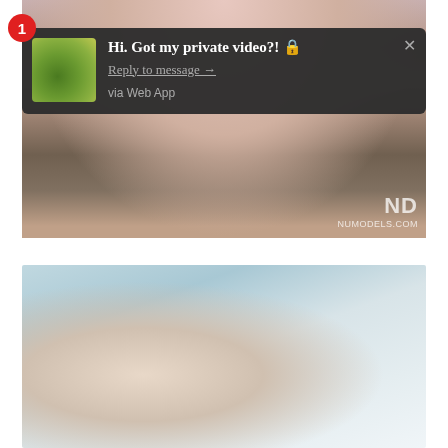[Figure (screenshot): Screenshot of a video player showing a person's legs in pink high-heeled sandals standing on a wooden table, with curtains and a plant in the background. A watermark 'ND NUMODELS.COM' appears in the bottom right. A push notification overlay is visible showing a message.]
Hi. Got my private video?! 🔒
Reply to message →
via Web App
[Figure (screenshot): Screenshot of a video player showing a person with blonde hair lying face down on a white couch or sofa, viewed from behind.]